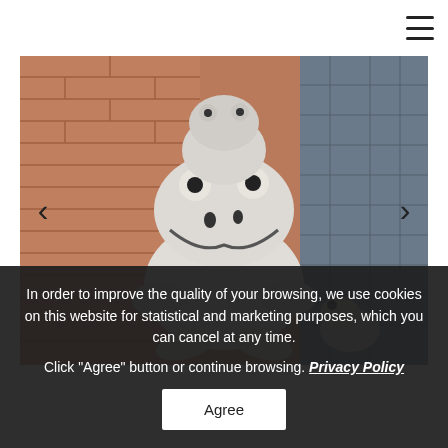[Figure (photo): Photo of ceramic/stone frog garden statues (stacked frogs) on a brick background with slate tiles on the right side. Carousel navigation arrows visible on left and right sides of image.]
In order to improve the quality of your browsing, we use cookies on this website for statistical and marketing purposes, which you can cancel at any time.
Click "Agree" button or continue browsing. Privacy Policy
Agree